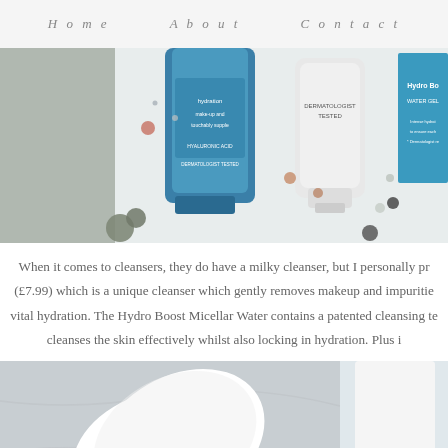Home   About   Contact
[Figure (photo): Flat lay of Neutrogena Hydro Boost skincare products including a blue micellar water bottle, a white cleanser tube, and blue product box on a white wooden surface with scattered sequins and coins]
When it comes to cleansers, they do have a milky cleanser, but I personally pr (£7.99) which is a unique cleanser which gently removes makeup and impuritie vital hydration. The Hydro Boost Micellar Water contains a patented cleansing te cleanses the skin effectively whilst also locking in hydration. Plus i
[Figure (photo): Close-up photo of a white flower (calla lily) next to a clear blue Neutrogena Hydro Boost Micellar Water bottle on a marble surface]